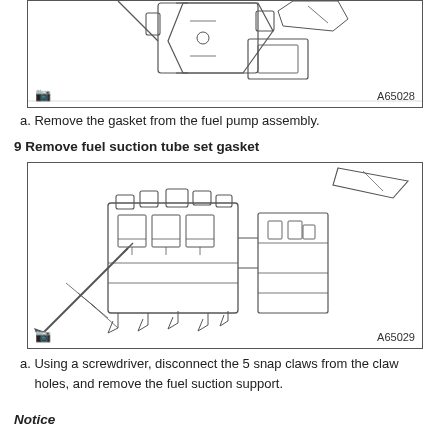[Figure (engineering-diagram): Technical line drawing of fuel pump assembly gasket removal, showing mechanical components from above. Labeled A65028.]
a. Remove the gasket from the fuel pump assembly.
9 Remove fuel suction tube set gasket
[Figure (engineering-diagram): Technical line drawing showing fuel suction tube set with 5 snap claws and claw holes visible. A screwdriver is shown disconnecting the snap claws. Labeled A65029.]
a. Using a screwdriver, disconnect the 5 snap claws from the claw holes, and remove the fuel suction support.
Notice